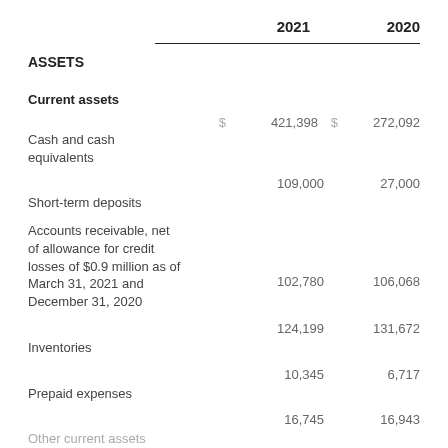|  | 2021 | 2020 |
| --- | --- | --- |
| ASSETS |  |  |
| Current assets |  |  |
| Cash and cash equivalents | $ 421,398 | $ 272,092 |
| Short-term deposits | 109,000 | 27,000 |
| Accounts receivable, net of allowance for credit losses of $0.9 million as of March 31, 2021 and December 31, 2020 | 102,780 | 106,068 |
| Inventories | 124,199 | 131,672 |
| Prepaid expenses | 10,345 | 6,717 |
| Other current assets | 16,745 | 16,943 |